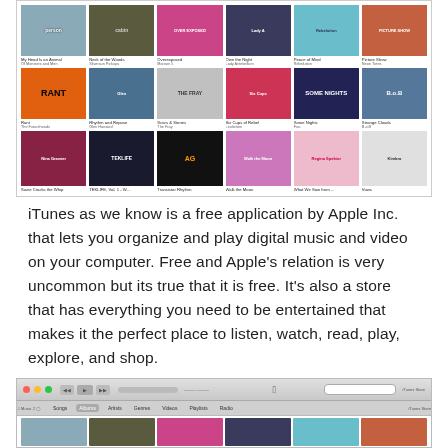[Figure (screenshot): iTunes store screenshot showing album grid with 3 rows of 6 album covers each. Row 1: My Head Is an Animal (Of Monsters and Men), Neck of the Woods (Silversun Pickups), Overexposed (Maroon 5), Own the Night (Lady Antebellum), Peace of Mind (Rebelution), Picture Show (Neon Trees). Row 2: Rant (The Futureneads), Rhythm and Repose (Glen Hansard), Scars & Stories (The Fray), Six Cups of Rebel (Lindstrom), Some Nights (Fun.), Strange Clouds (B.o.B). Row 3: Suzie Cracks the Whip, TEKLIFE Vol. 1 - W..., Transistor Rhythm, Walk the Moon, What We Saw from... (Regina Spektor), Vows (Kimbra).]
iTunes as we know is a free application by Apple Inc. that lets you organize and play digital music and video on your computer. Free and Apple's relation is very uncommon but its true that it is free. It's also a store that has everything you need to be entertained that makes it the perfect place to listen, watch, read, play, explore, and shop.
[Figure (screenshot): iTunes application window screenshot showing the toolbar with traffic light buttons, playback controls, Apple logo center, search bar, navigation tabs (Songs, Albums, Artists, Genres, Videos, Playlists, Radio), iTunes Store button, and a partial album grid below.]